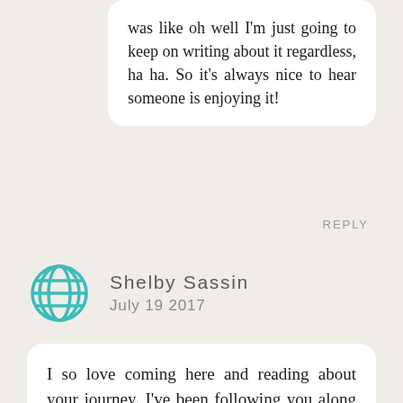was like oh well I'm just going to keep on writing about it regardless, ha ha. So it's always nice to hear someone is enjoying it!
REPLY
Shelby Sassin
July 19 2017
I so love coming here and reading about your journey. I've been following you along the ride for the last two years. I venture occasionally to other blogs to explore, but always find myself back here. If you ever find yourself back in San Francisco, I'd love to show you around!